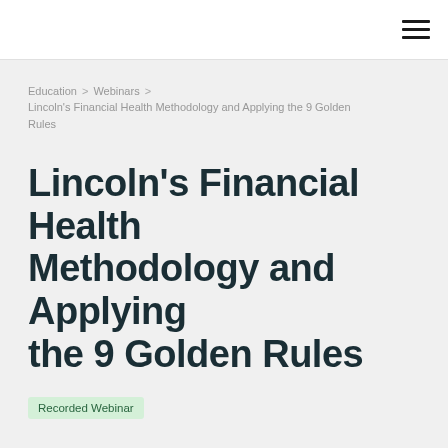≡ (navigation menu icon)
Education > Webinars > Lincoln's Financial Health Methodology and Applying the 9 Golden Rules
Lincoln's Financial Health Methodology and Applying the 9 Golden Rules
Recorded Webinar